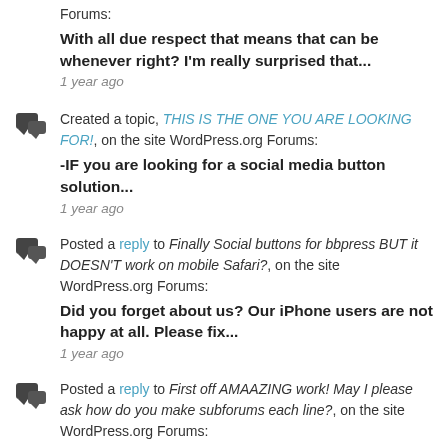Forums: With all due respect that means that can be whenever right? I'm really surprised that... 1 year ago
Created a topic, THIS IS THE ONE YOU ARE LOOKING FOR!, on the site WordPress.org Forums: -IF you are looking for a social media button solution... 1 year ago
Posted a reply to Finally Social buttons for bbpress BUT it DOESN'T work on mobile Safari?, on the site WordPress.org Forums: Did you forget about us? Our iPhone users are not happy at all. Please fix... 1 year ago
Posted a reply to First off AMAAZING work! May I please ask how do you make subforums each line?, on the site WordPress.org Forums: Hello and thank you. Oddly enough it makes no changes here. I have the Disputo... 1 year ago